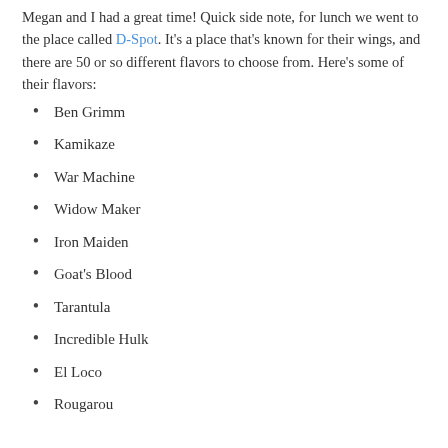Megan and I had a great time! Quick side note, for lunch we went to the place called D-Spot. It's a place that's known for their wings, and there are 50 or so different flavors to choose from. Here's some of their flavors:
Ben Grimm
Kamikaze
War Machine
Widow Maker
Iron Maiden
Goat's Blood
Tarantula
Incredible Hulk
El Loco
Rougarou